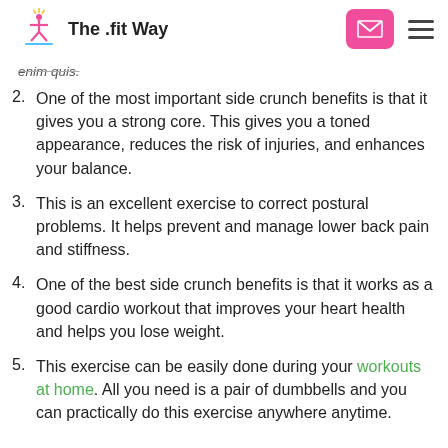The .fit Way
enim quis.
One of the most important side crunch benefits is that it gives you a strong core. This gives you a toned appearance, reduces the risk of injuries, and enhances your balance.
This is an excellent exercise to correct postural problems. It helps prevent and manage lower back pain and stiffness.
One of the best side crunch benefits is that it works as a good cardio workout that improves your heart health and helps you lose weight.
This exercise can be easily done during your workouts at home. All you need is a pair of dumbbells and you can practically do this exercise anywhere anytime.